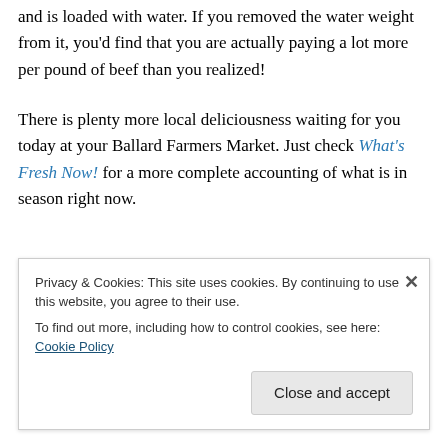and is loaded with water. If you removed the water weight from it, you'd find that you are actually paying a lot more per pound of beef than you realized!
There is plenty more local deliciousness waiting for you today at your Ballard Farmers Market. Just check What's Fresh Now! for a more complete accounting of what is in season right now.
Privacy & Cookies: This site uses cookies. By continuing to use this website, you agree to their use.
To find out more, including how to control cookies, see here: Cookie Policy